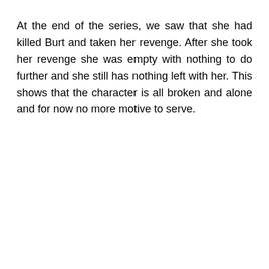At the end of the series, we saw that she had killed Burt and taken her revenge. After she took her revenge she was empty with nothing to do further and she still has nothing left with her. This shows that the character is all broken and alone and for now no more motive to serve.